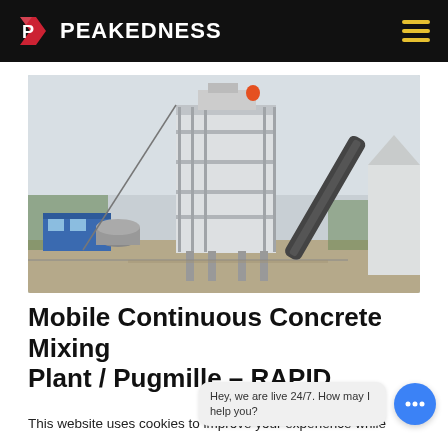PEAKEDNESS
[Figure (photo): Outdoor industrial concrete/asphalt mixing plant facility with multi-story steel structure tower, conveyor belt on the right, blue office container on the left, and a cylindrical machine in the foreground. Taken in daylight with overcast sky and trees visible in the background.]
Mobile Continuous Concrete Mixing Plant / Pugmille – RAPID
This website uses cookies to improve your experience while